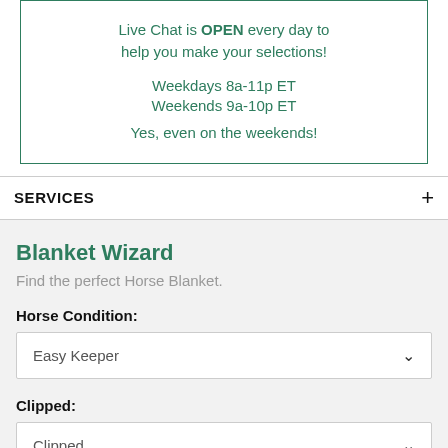Live Chat is OPEN every day to help you make your selections!

Weekdays 8a-11p ET
Weekends 9a-10p ET
Yes, even on the weekends!
SERVICES
Blanket Wizard
Find the perfect Horse Blanket.
Horse Condition:
Easy Keeper
Clipped:
Clipped